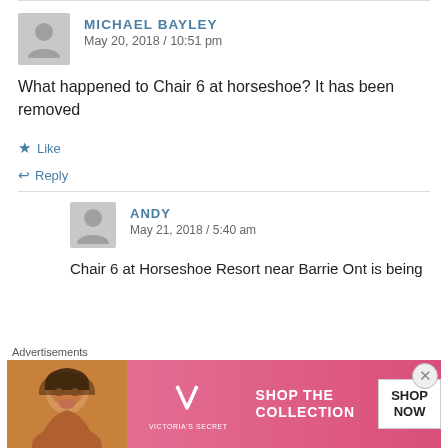MICHAEL BAYLEY
May 20, 2018 / 10:51 pm
What happened to Chair 6 at horseshoe? It has been removed
Like
Reply
ANDY
May 21, 2018 / 5:40 am
Chair 6 at Horseshoe Resort near Barrie Ont is being
Advertisements
[Figure (infographic): Victoria's Secret advertisement banner: 'SHOP THE COLLECTION' with 'SHOP NOW' button, pink gradient background, woman's face on left side]